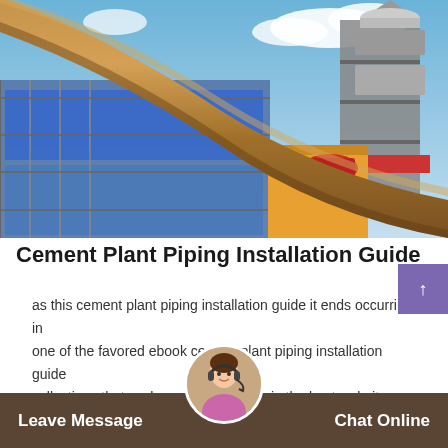[Figure (photo): Industrial cement plant photo showing large diagonal brown pipe/kiln in foreground against blue sky, with colorful factory buildings (blue, yellow, red structures) and a conical separator tower in the background]
Cement Plant Piping Installation Guide
as this cement plant piping installation guide it ends occurring in one of the favored ebook cement plant piping installation guide collections that we have this is remain in the best website...